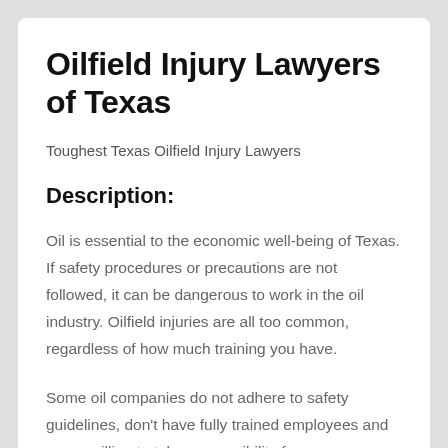Oilfield Injury Lawyers of Texas
Toughest Texas Oilfield Injury Lawyers
Description:
Oil is essential to the economic well-being of Texas. If safety procedures or precautions are not followed, it can be dangerous to work in the oil industry. Oilfield injuries are all too common, regardless of how much training you have.
Some oil companies do not adhere to safety guidelines, don't have fully trained employees and are unwilling to take responsibility for any accidents. Oilfield workers